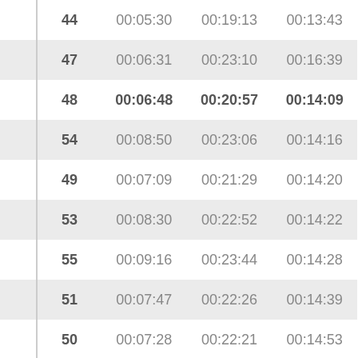|  | # | Col1 | Col2 | Col3 |
| --- | --- | --- | --- | --- |
|  | 44 | 00:05:30 | 00:19:13 | 00:13:43 |
|  | 47 | 00:06:31 | 00:23:10 | 00:16:39 |
|  | 48 | 00:06:48 | 00:20:57 | 00:14:09 |
|  | 54 | 00:08:50 | 00:23:06 | 00:14:16 |
|  | 49 | 00:07:09 | 00:21:29 | 00:14:20 |
|  | 53 | 00:08:30 | 00:22:52 | 00:14:22 |
|  | 55 | 00:09:16 | 00:23:44 | 00:14:28 |
|  | 51 | 00:07:47 | 00:22:26 | 00:14:39 |
|  | 50 | 00:07:28 | 00:22:21 | 00:14:53 |